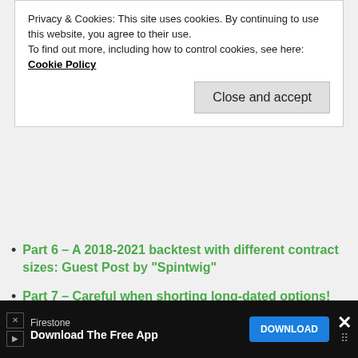Privacy & Cookies: This site uses cookies. By continuing to use this website, you agree to their use. To find out more, including how to control cookies, see here: Cookie Policy
Close and accept
Part 6 – A 2018-2021 backtest with different contract sizes: Guest Post by “Spintwig”
Part 7 – Careful when shorting long-dated options!
Part 8 – A 2021 Update
Part 9 – A 2016-2021 backtest: Guest Post by “Spintwig”
[Figure (other): Light gray empty box (advertisement placeholder)]
[Figure (other): Advertisement banner: Firestone - Download The Free App - DOWNLOAD button]